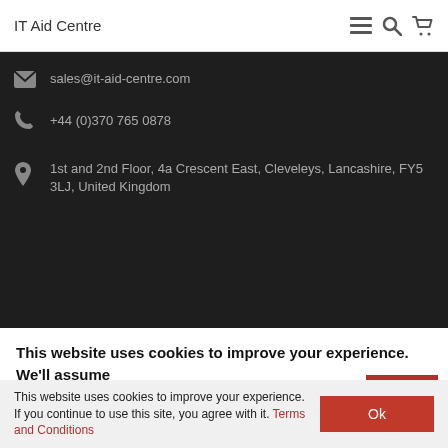IT Aid Centre
sales@it-aid-centre.com
+44 (0)370 765 0878
1st and 2nd Floor, 4a Crescent East, Cleveleys, Lancashire, FY5 3LJ, United Kingdom
This website uses cookies to improve your experience. We'll assume you're ok with this, but you can opt-out if you wish.
This website uses cookies to improve your experience. If you continue to use this site, you agree with it. Terms and Conditions